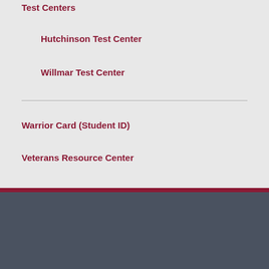Test Centers
Hutchinson Test Center
Willmar Test Center
Warrior Card (Student ID)
Veterans Resource Center
HOW TO APPLY ▶  Translate »